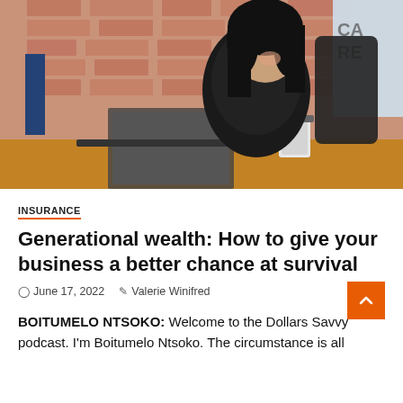[Figure (photo): Woman with dark hair sitting at a wooden desk in front of a laptop and coffee cup, smiling, in a room with exposed brick walls and a window. She is wearing a black outfit and seated in a dark chair.]
INSURANCE
Generational wealth: How to give your business a better chance at survival
June 17, 2022   Valerie Winifred
BOITUMELO NTSOKO: Welcome to the Dollars Savvy podcast. I'm Boitumelo Ntsoko. The circumstance is all